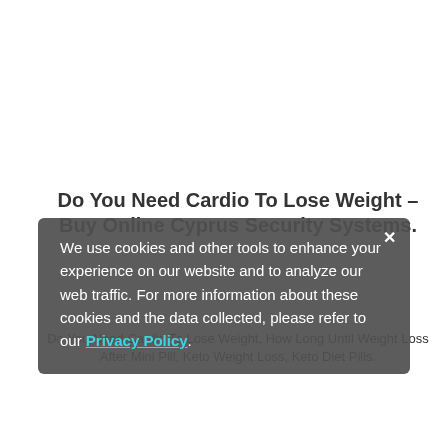Do You Need Cardio To Lose Weight – Buy Online Cyprus Security Systems.
Do You Need Cardio To Lose Weight, How Long Until Weight Loss After Mini Pill, Keto Weight Loss, Keto Diet Pills.
We use cookies and other tools to enhance your experience on our website and to analyze our web traffic. For more information about these cookies and the data collected, please refer to our Privacy Policy.